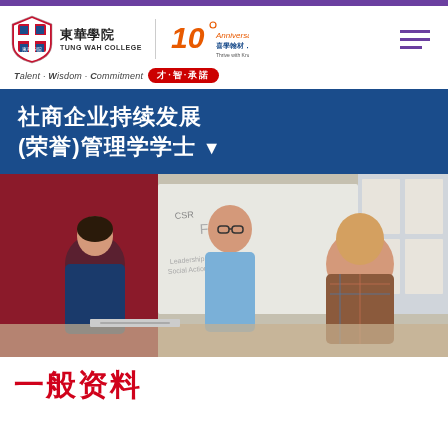東華學院 TUNG WAH COLLEGE — 10th Anniversary — Talent · Wisdom · Commitment 才·智·承諾
社商企业持续发展(荣誉)管理学学士
[Figure (photo): Three people in a classroom/meeting setting: a woman with dark hair, a man in a blue shirt standing and presenting, and an older man in a plaid shirt, laughing, with whiteboards and posters in the background.]
一般资料